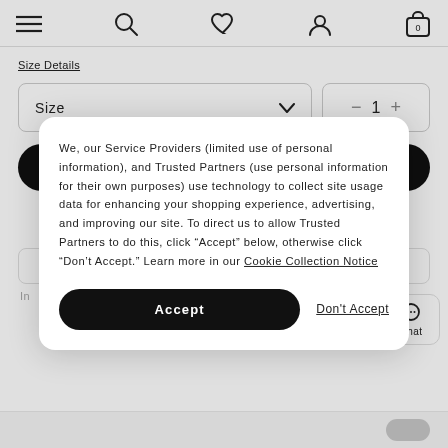[Figure (screenshot): Navigation bar with hamburger menu, search icon, heart/wishlist icon, user account icon, and shopping bag icon with 0 count]
Size Details
[Figure (screenshot): Size dropdown selector and quantity selector showing 1 with minus and plus buttons]
[Figure (screenshot): Add To Bag button (dark/black rounded rectangle)]
We, our Service Providers (limited use of personal information), and Trusted Partners (use personal information for their own purposes) use technology to collect site usage data for enhancing your shopping experience, advertising, and improving our site. To direct us to allow Trusted Partners to do this, click “Accept” below, otherwise click “Don’t Accept.” Learn more in our Cookie Collection Notice
[Figure (screenshot): Accept button (black rounded) and Don't Accept link in cookie consent modal]
[Figure (screenshot): Chat bubble icon with Chat label in bottom right]